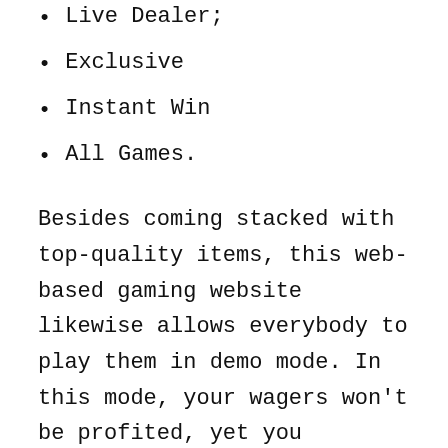Live Dealer;
Exclusive
Instant Win
All Games.
Besides coming stacked with top-quality items, this web-based gaming website likewise allows everybody to play them in demo mode. In this mode, your wagers won't be profited, yet you additionally won't almost certainly win any genuine cash. This is great on if you are simply beginning and you need to have a feel of how to play a particular game. Existing clients can